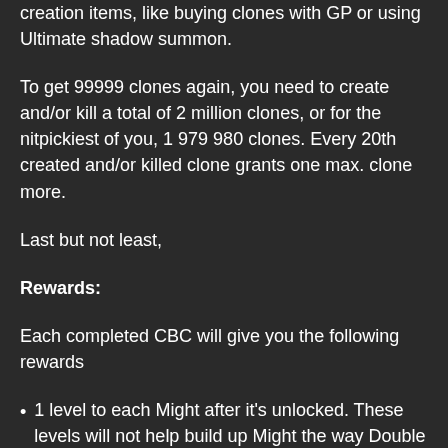creation items, like buying clones with GP or using Ultimate shadow summon.
To get 99999 clones again, you need to create and/or kill a total of 2 million clones, or for the nitpickiest of you, 1 979 980 clones. Every 20th created and/or killed clone grants one max. clone more.
Last but not least,
Rewards:
Each completed CBC will give you the following rewards
1 level to each Might after it's unlocked. These levels will not help build up Might the way Double